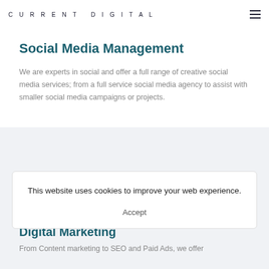CURRENT DIGITAL
Social Media Management
We are experts in social and offer a full range of creative social media services; from a full service social media agency to assist with smaller social media campaigns or projects.
This website uses cookies to improve your web experience.
Accept
Digital Marketing
From Content marketing to SEO and Paid Ads, we offer